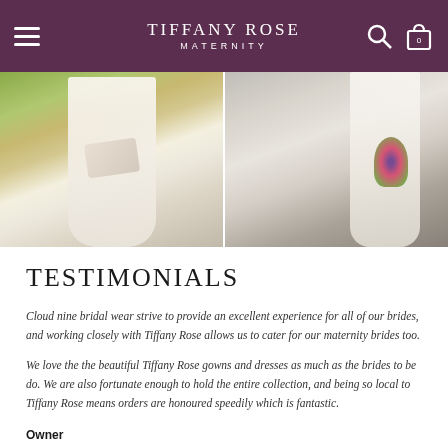TIFFANY ROSE MATERNITY
[Figure (photo): Two wedding photos side by side: left shows a bride in a white lace dress holding a beige clutch bag, right shows a bride in a white gown holding a colourful bouquet]
TESTIMONIALS
Cloud nine bridal wear strive to provide an excellent experience for all of our brides, and working closely with Tiffany Rose allows us to cater for our maternity brides too.
We love the the beautiful Tiffany Rose gowns and dresses as much as the brides to be do. We are also fortunate enough to hold the entire collection, and being so local to Tiffany Rose means orders are honoured speedily which is fantastic.
Owner
Cloud Nine Bridal Wear, Cheam, Surrey